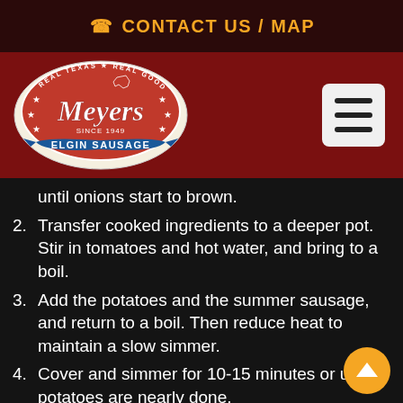☎ CONTACT US / MAP
[Figure (logo): Meyers Elgin Sausage logo - oval badge with 'Real Texas Real Good' text, Texas state shape, script lettering 'Meyers Since 1949', blue banner 'ELGIN SAUSAGE']
until onions start to brown.
2. Transfer cooked ingredients to a deeper pot. Stir in tomatoes and hot water, and bring to a boil.
3. Add the potatoes and the summer sausage, and return to a boil. Then reduce heat to maintain a slow simmer.
4. Cover and simmer for 10-15 minutes or until potatoes are nearly done.
5. Arrange zucchini slices on top of the stew,